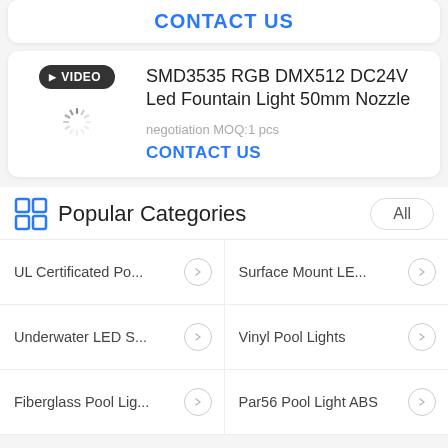CONTACT US
[Figure (screenshot): Product listing card with VIDEO button, loading spinner, and product details for SMD3535 RGB DMX512 DC24V Led Fountain Light 50mm Nozzle]
SMD3535 RGB DMX512 DC24V Led Fountain Light 50mm Nozzle
negotiation MOQ:1 pcs
CONTACT US
Popular Categories
UL Certificated Po...
Surface Mount LE...
Underwater LED S...
Vinyl Pool Lights
Fiberglass Pool Lig...
Par56 Pool Light ABS